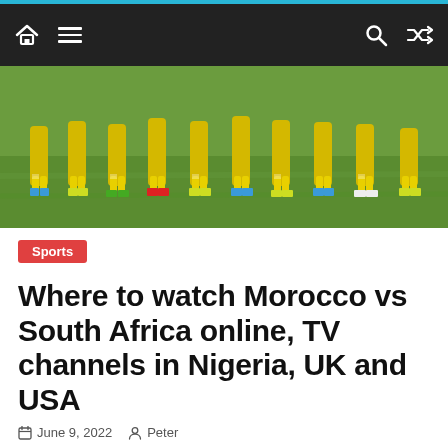Navigation bar with home, menu, search, and shuffle icons
[Figure (photo): Partial view of a football team lined up on a grass pitch, showing their legs and feet in yellow and green uniforms with colorful boots]
Sports
Where to watch Morocco vs South Africa online, TV channels in Nigeria, UK and USA
June 9, 2022   Peter
Welcome to the ongoing Africa Nations Cup, AFCON 2023 qualifications on Thursday 9th of